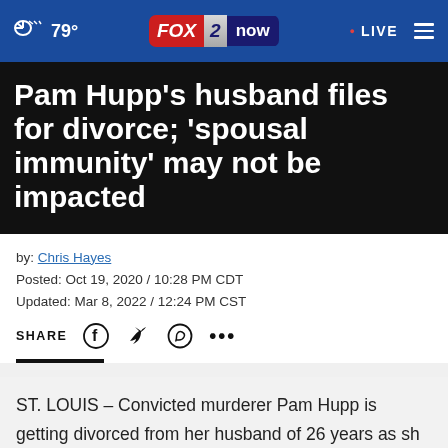79° FOX 2 now • LIVE
Pam Hupp's husband files for divorce; 'spousal immunity' may not be impacted
by: Chris Hayes
Posted: Oct 19, 2020 / 10:28 PM CDT
Updated: Mar 8, 2022 / 12:24 PM CST
SHARE [Facebook] [Twitter] [WhatsApp] [More]
ST. LOUIS – Convicted murderer Pam Hupp is getting divorced from her husband of 26 years as she sits in prison.
Much attention has ...